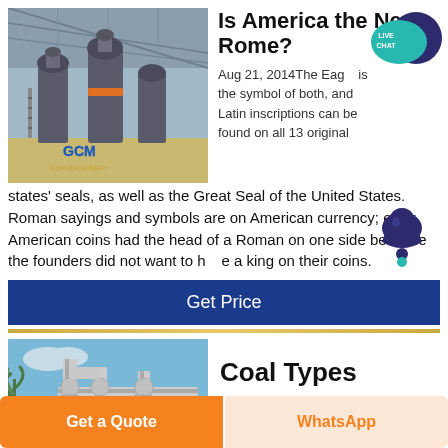[Figure (photo): Industrial building interior with large milling/grinding machinery. GCM Machinery logo visible.]
Is America the New Rome?
Aug 21, 2014The Eagle is the symbol of both, and Latin inscriptions can be found on all 13 original states' seals, as well as the Great Seal of the United States. Roman sayings and symbols are on American currency; early American coins had the head of a Roman on one side because the founders did not want to have a king on their coins.
Get Price
[Figure (photo): Industrial pipes against a blue sky — Coal Types section image.]
Coal Types
Get a Quote
WhatsApp